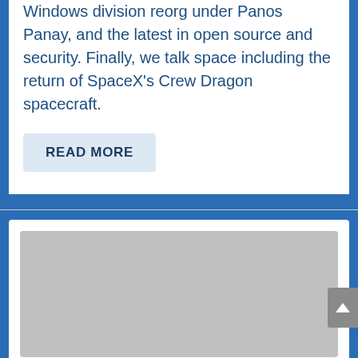Windows division reorg under Panos Panay, and the latest in open source and security. Finally, we talk space including the return of SpaceX's Crew Dragon spacecraft.
READ MORE
[Figure (photo): Gray placeholder image rectangle below a horizontal divider line]